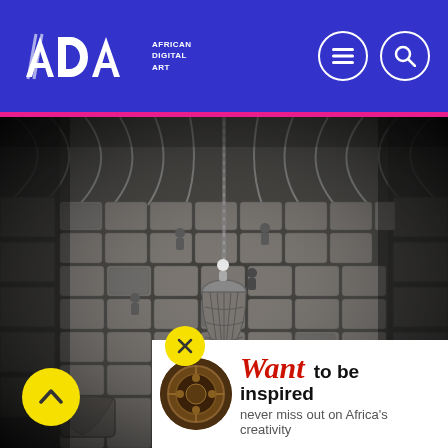ADA African Digital Art
[Figure (photo): Black and white aerial photograph of workers in a large warehouse or storage facility. Workers are seen from above among stacked bales/sacks forming a textured floor pattern. A large net or sling hangs from a chain in the center, used for hoisting cargo. The ceiling shows curved metal ribs. The image has a dramatic industrial composition.]
[Figure (photo): Circular brown/bronze decorative emblem or medallion, appears to be a cultural artifact, shown in the newsletter popup thumbnail.]
Want to be inspired
never miss out on Africa's creativity